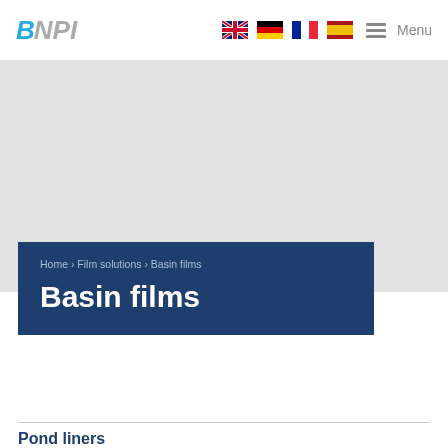BNPI — logo with navigation flags (UK, German, French, Spanish) and Menu
[Figure (screenshot): Grey hero image placeholder area]
Home › Film solutions › Basin films
Basin films
Pond liners